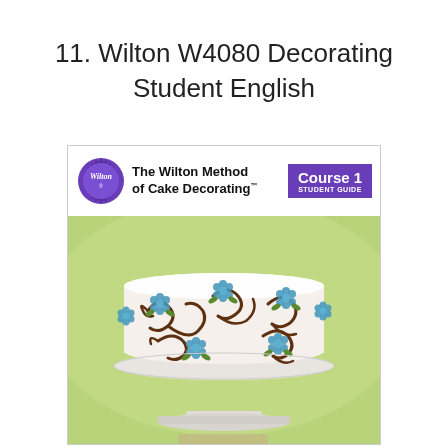11. Wilton W4080 Decorating Student English
[Figure (photo): Cover of 'The Wilton Method of Cake Decorating Course 1 Student Guide' book, showing a white frosted cake decorated with blue flowers and brown chocolate scrollwork swirls, displayed on a white cake stand against a green background.]